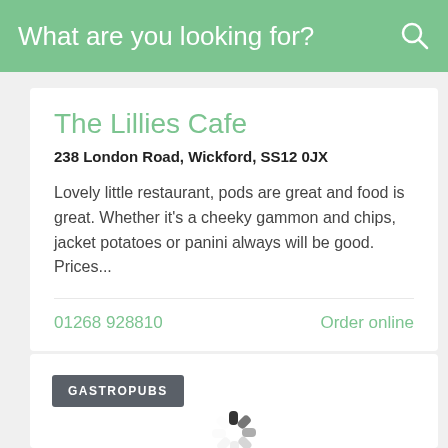What are you looking for?
The Lillies Cafe
238 London Road, Wickford, SS12 0JX
Lovely little restaurant, pods are great and food is great. Whether it's a cheeky gammon and chips, jacket potatoes or panini always will be good. Prices...
01268 928810
Order online
Superb
77 Reviews
4.7
GASTROPUBS
[Figure (other): Loading spinner graphic]